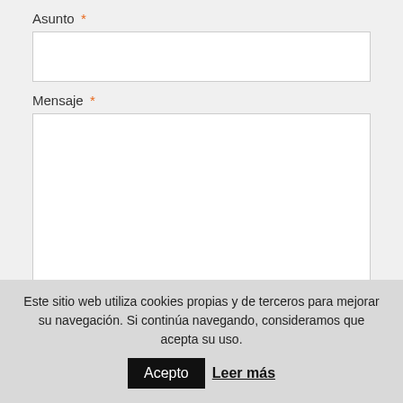Asunto *
Mensaje *
Enviar
Este sitio web utiliza cookies propias y de terceros para mejorar su navegación. Si continúa navegando, consideramos que acepta su uso. Acepto Leer más